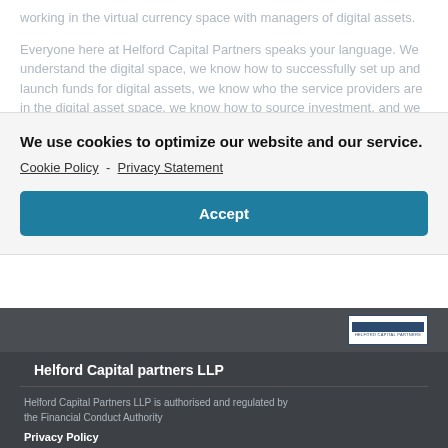working in the virtual currency space with managers of digital assets.
Everyone here at Helford Capital Partners speaks your language. We understand the digital space, we know how to successfully set up and launch funds for digital assets, we know who the service providers are in the digital asset space, we know how to source investment, and we know how to communicate with the regulators.
We use cookies to optimize our website and our service.
Cookie Policy  -  Privacy Statement
Accept
[Figure (logo): Helford Capital Partners logo — dark blue bar above small text reading HELFORD CAPITAL PARTNERS]
Helford Capital partners LLP
Helford Capital Partners LLP is authorised and regulated by the Financial Conduct Authority
Privacy Policy